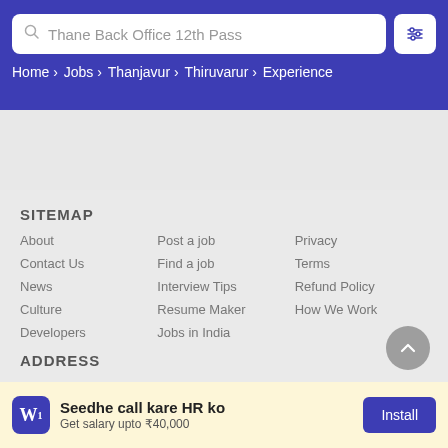[Figure (screenshot): Search bar with text 'Thane Back Office 12th Pass' and a filter/settings button on the right]
Home › Jobs › Thanjavur › Thiruvarur › Experience
SITEMAP
About
Post a job
Privacy
Contact Us
Find a job
Terms
News
Interview Tips
Refund Policy
Culture
Resume Maker
How We Work
Developers
Jobs in India
ADDRESS
Seedhe call kare HR ko
Get salary upto ₹40,000